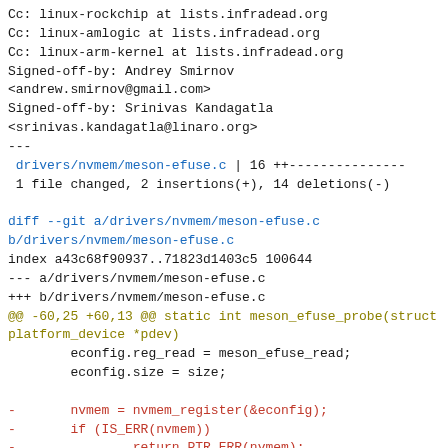Cc: linux-rockchip at lists.infradead.org
Cc: linux-amlogic at lists.infradead.org
Cc: linux-arm-kernel at lists.infradead.org
Signed-off-by: Andrey Smirnov
<andrew.smirnov@gmail.com>
Signed-off-by: Srinivas Kandagatla
<srinivas.kandagatla@linaro.org>
---
 drivers/nvmem/meson-efuse.c | 16 ++---------------
 1 file changed, 2 insertions(+), 14 deletions(-)

diff --git a/drivers/nvmem/meson-efuse.c
b/drivers/nvmem/meson-efuse.c
index a43c68f90937..71823d1403c5 100644
--- a/drivers/nvmem/meson-efuse.c
+++ b/drivers/nvmem/meson-efuse.c
@@ -60,25 +60,13 @@ static int meson_efuse_probe(struct platform_device *pdev)
        econfig.reg_read = meson_efuse_read;
        econfig.size = size;

-       nvmem = nvmem_register(&econfig);
-       if (IS_ERR(nvmem))
-               return PTR_ERR(nvmem);
+       nvmem = devm_nvmem_register(&pdev->dev, &econfig);

-       platform_set_drvdata(pdev, nvmem);
-
-       return 0;